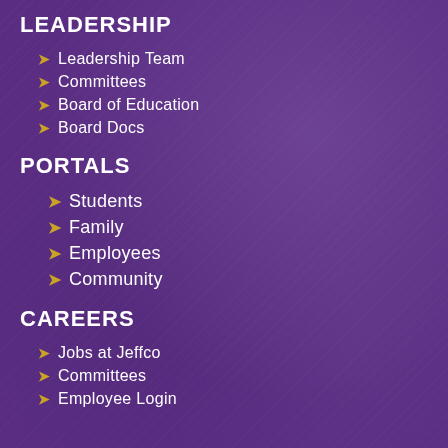LEADERSHIP
Leadership Team
Committees
Board of Education
Board Docs
PORTALS
Students
Family
Employees
Community
CAREERS
Jobs at Jeffco
Committees
Employee Login